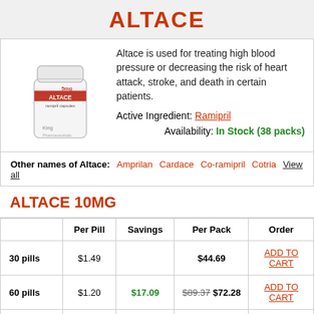ALTACE
[Figure (photo): White pill bottle labeled ALTACE ramipril capsules]
Altace is used for treating high blood pressure or decreasing the risk of heart attack, stroke, and death in certain patients.
Active Ingredient: Ramipril
Availability: In Stock (38 packs)
Other names of Altace: Amprilan Cardace Co-ramipril Cotria View all
ALTACE 10MG
|  | Per Pill | Savings | Per Pack | Order |
| --- | --- | --- | --- | --- |
| 30 pills | $1.49 |  | $44.69 | ADD TO CART |
| 60 pills | $1.20 | $17.09 | $89.37 $72.28 | ADD TO CART |
| 90 pills | $1.11 | $34.19 | $134.07 $99.88 | ADD TO CART |